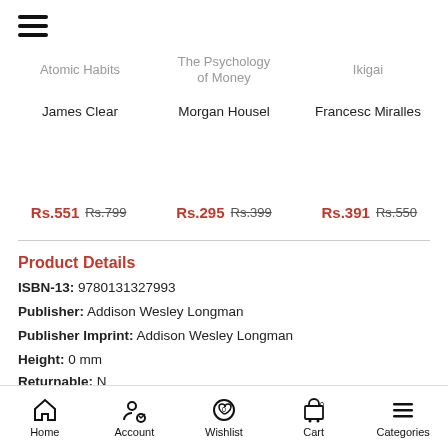☰ (hamburger menu)
Atomic Habits | The Psychology of Money | Ikigai
James Clear | Morgan Housel | Francesc Miralles
Rs.551 Rs.799 | Rs.295 Rs.399 | Rs.391 Rs.550
Product Details
ISBN-13: 9780131327993
Publisher: Addison Wesley Longman
Publisher Imprint: Addison Wesley Longman
Height: 0 mm
Returnable: N
Home | Account | Wishlist | Cart | Categories